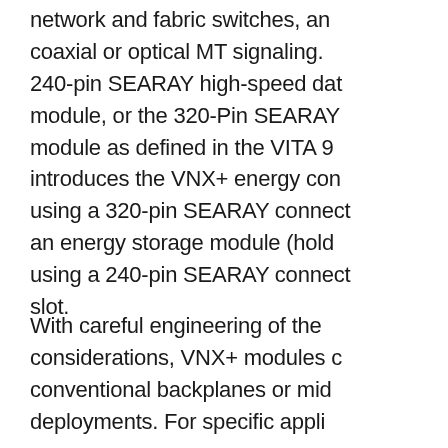network and fabric switches, and coaxial or optical MT signaling. 240-pin SEARAY high-speed data module, or the 320-Pin SEARAY module as defined in the VITA 9 introduces the VNX+ energy con using a 320-pin SEARAY connect an energy storage module (hold using a 240-pin SEARAY connect slot.
With careful engineering of the considerations, VNX+ modules c conventional backplanes or mid deployments. For specific appli